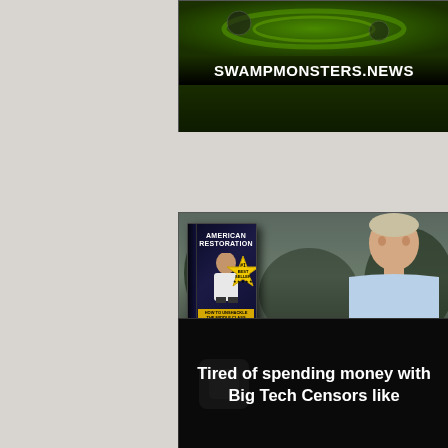[Figure (illustration): SwampMonsters.News advertisement banner with green swamp-themed graphic design and bold website URL text]
[Figure (illustration): American Restoration book by Jeff Webb advertisement. Shows book cover with '#1 Best Seller' badge, man with crossed arms, text: 'Read why the man who built American cheerleading over the past 40 years founded Middle Class Warriors and how he plans to rebuild the American middle class.' with 'LEARN MORE' button and 'middleclasswarriors.com' URL, featuring Middle Class Warriors logo.]
[Figure (illustration): Advertisement with dark/black background showing partial text: 'Tired of spending money with Big Tech Censors like' — partially cut off at bottom of page, with faint social media icons watermark]